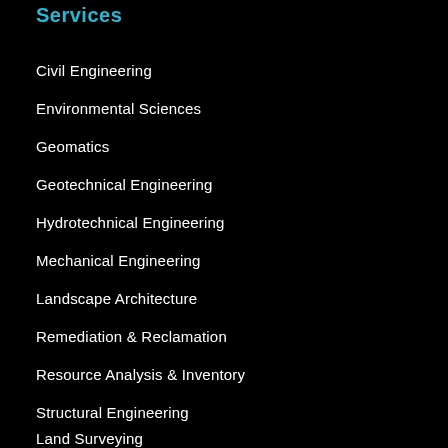Services
Civil Engineering
Environmental Sciences
Geomatics
Geotechnical Engineering
Hydrotechnical Engineering
Mechanical Engineering
Landscape Architecture
Remediation & Reclamation
Resource Analysis & Inventory
Structural Engineering
Land Surveying